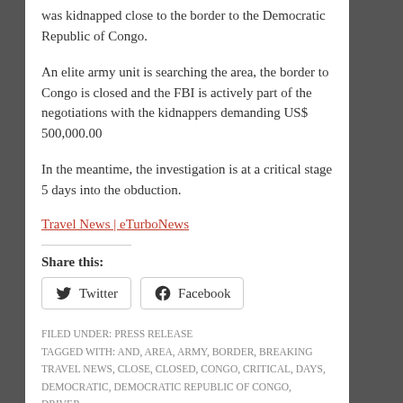was kidnapped close to the border to the Democratic Republic of Congo.
An elite army unit is searching the area, the border to Congo is closed and the FBI is actively part of the negotiations with the kidnappers demanding US$ 500,000.00
In the meantime, the investigation is at a critical stage 5 days into the obduction.
Travel News | eTurboNews
Share this:
Twitter
Facebook
FILED UNDER: PRESS RELEASE
TAGGED WITH: AND, AREA, ARMY, BORDER, BREAKING TRAVEL NEWS, CLOSE, CLOSED, CONGO, CRITICAL, DAYS, DEMOCRATIC, DEMOCRATIC REPUBLIC OF CONGO, DRIVER,